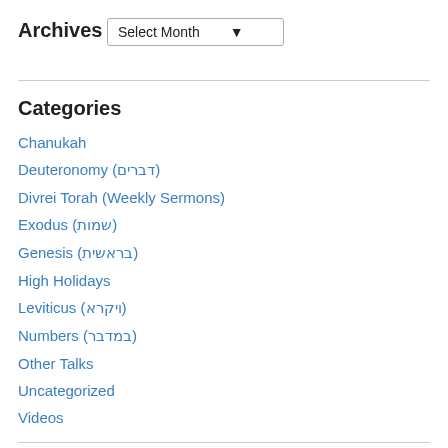Archives
Select Month
Categories
Chanukah
Deuteronomy (דברים)
Divrei Torah (Weekly Sermons)
Exodus (שמות)
Genesis (בראשית)
High Holidays
Leviticus (ויקרא)
Numbers (במדבר)
Other Talks
Uncategorized
Videos